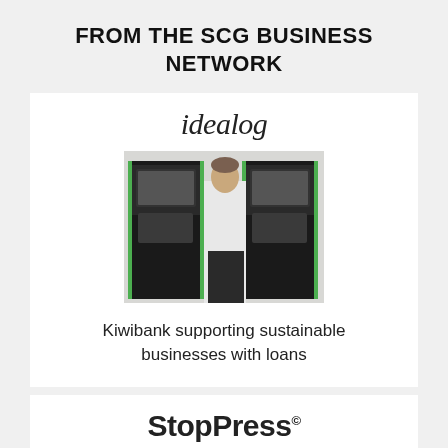FROM THE SCG BUSINESS NETWORK
[Figure (logo): idealog logo in italic serif font]
[Figure (photo): Man in white shirt standing between two green Kiwibank ATMs]
Kiwibank supporting sustainable businesses with loans
[Figure (logo): StopPress logo with registered trademark circle-R superscript]
[Figure (photo): Close-up face of a man wearing glasses, black and white photo, cropped at bottom of frame]